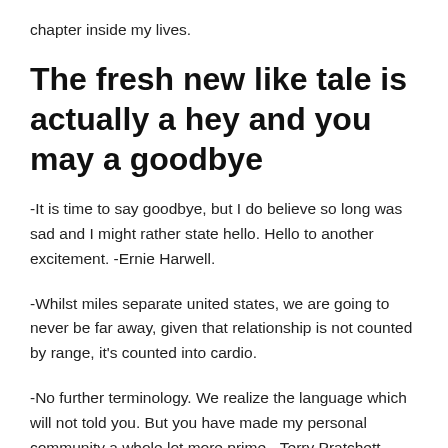chapter inside my lives.
The fresh new like tale is actually a hey and you may a goodbye
-It is time to say goodbye, but I do believe so long was sad and I might rather state hello. Hello to another excitement. -Ernie Harwell.
-Whilst miles separate united states, we are going to never be far away, given that relationship is not counted by range, it's counted into cardio.
-No further terminology. We realize the language which will not told you. But you have made my personal community a whole lot more prime. -Terry Pratchett.
-I will not be in a position to bid farewell to those just who I've